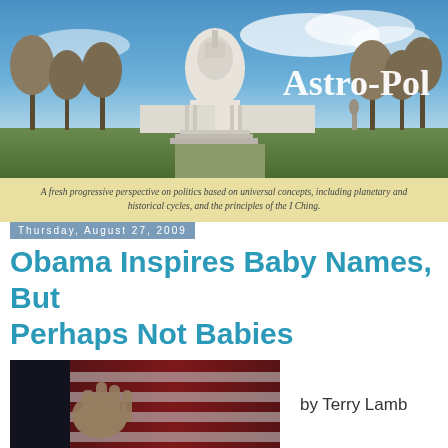[Figure (photo): Banner image of the US Capitol building with blue sky and bare trees, with 'Astro-Pol' text overlay in white serif font on the right side]
A fresh progressive perspective on politics based on universal concepts, including planetary and historical cycles, and the principles of the I Ching.
Thursday, August 27, 2009
Obama Inspires Baby Names, But Perhaps Not Babies
[Figure (photo): Close-up photo of a hand against an American flag background]
by Terry Lamb